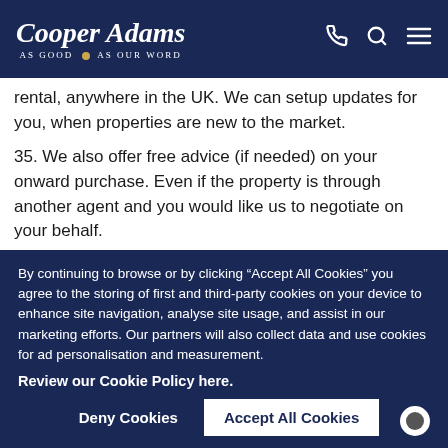Cooper Adams — AS GOOD AS OUR WORD
rental, anywhere in the UK. We can setup updates for you, when properties are new to the market.
35. We also offer free advice (if needed) on your onward purchase. Even if the property is through another agent and you would like us to negotiate on your behalf.
36. While the sale is proceeding we will update you weekly as well as chasing your buyer, mortgage brokers.
By continuing to browse or by clicking “Accept All Cookies” you agree to the storing of first and third-party cookies on your device to enhance site navigation, analyse site usage, and assist in our marketing efforts. Our partners will also collect data and use cookies for ad personalisation and measurement.
Review our Cookie Policy here.